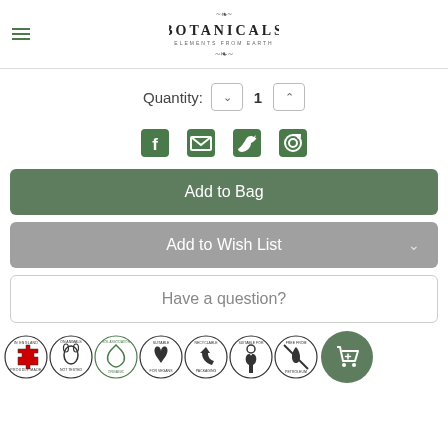BOTANICALS - ELEMENTS FROM EARTH
Quantity: 1
[Figure (other): Social sharing icons: Facebook, Email, Twitter, Pinterest]
Add to Bag
Add to Wish List
Have a question?
[Figure (other): Certification badges: Proudly Made in England, Not Tested on Animals, Soil Association Organic, Suitable for Vegans, Recyclable Packaging, Suitable for Pregnancy, Free from Petroleum]